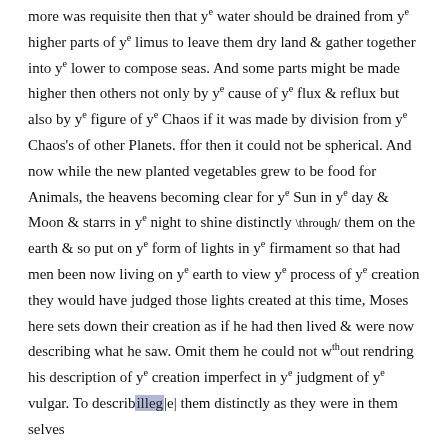more was requisite then that y^e water should be drained from y^e higher parts of y^e limus to leave them dry land & gather together into y^e lower to compose seas. And some parts might be made higher then others not only by y^e cause of y^e flux & reflux but also by y^e figure of y^e Chaos if it was made by division from y^e Chaos's of other Planets. ffor then it could not be spherical. And now while the new planted vegetables grew to be food for Animals, the heavens becoming clear for y^e Sun in y^e day & Moon & starrs in y^e night to shine distinctly \through/ them on the earth & so put on y^e form of lights in y^e firmament so that had men been now living on y^e earth to view y^e process of y^e creation they would have judged those lights created at this time, Moses here sets down their creation as if he had then lived & were now describing what he saw. Omit them he could not w^th out rendring his description of y^e creation imperfect in y^e judgment of y^e vulgar. To describ[illeg]|e| them distinctly as they were in them selves